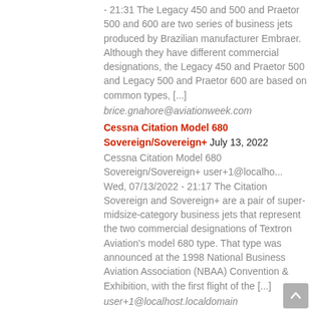- 21:31 The Legacy 450 and 500 and Praetor 500 and 600 are two series of business jets produced by Brazilian manufacturer Embraer. Although they have different commercial designations, the Legacy 450 and Praetor 500 and Legacy 500 and Praetor 600 are based on common types, [...]
brice.gnahore@aviationweek.com
Cessna Citation Model 680 Sovereign/Sovereign+ July 13, 2022
Cessna Citation Model 680 Sovereign/Sovereign+ user+1@localho... Wed, 07/13/2022 - 21:17 The Citation Sovereign and Sovereign+ are a pair of super-midsize-category business jets that represent the two commercial designations of Textron Aviation's model 680 type. That type was announced at the 1998 National Business Aviation Association (NBAA) Convention & Exhibition, with the first flight of the [...]
user+1@localhost.localdomain
Pilatus PC-12 July 13, 2022
Pilatus PC-12 user+1@localho... Wed, 07/13/2022 - 21:17 The PC-12 is a single-